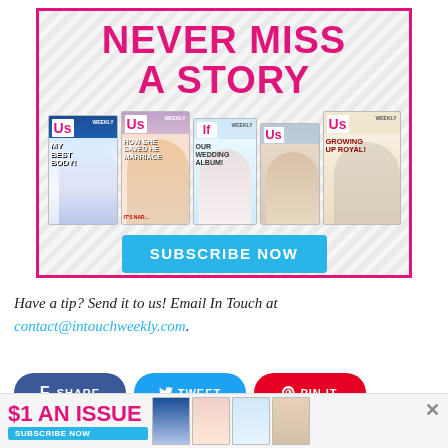[Figure (illustration): Magazine subscription advertisement with pink border. Large pink bold text reads 'NEVER MISS A STORY'. Below are images of multiple Us Weekly magazine covers. A cyan 'SUBSCRIBE NOW' button appears at the bottom of the ad.]
Have a tip? Send it to us! Email In Touch at contact@intouchweekly.com.
[Figure (illustration): Social sharing buttons: SHARE (Facebook, dark blue), TWEET (Twitter, blue), PIN IT (Pinterest, red)]
[Figure (illustration): Bottom advertisement bar: '$1 AN ISSUE' in pink text, 'SUBSCRIBE NOW' in cyan button, small magazine cover thumbnails, and an X close button.]